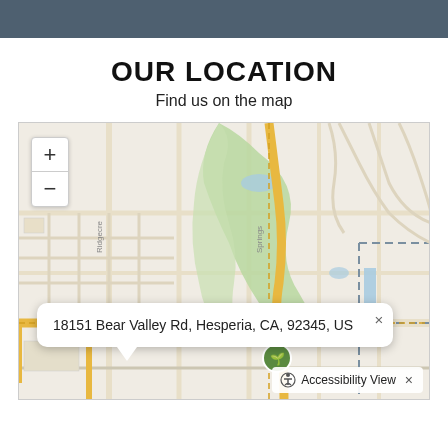OUR LOCATION
Find us on the map
[Figure (map): Street map showing the area around 18151 Bear Valley Rd, Hesperia, CA 92345, US with zoom controls (+/-) and an address popup tooltip. The map shows roads, a green park area, and a dashed boundary line.]
18151 Bear Valley Rd, Hesperia, CA, 92345, US
Accessibility View